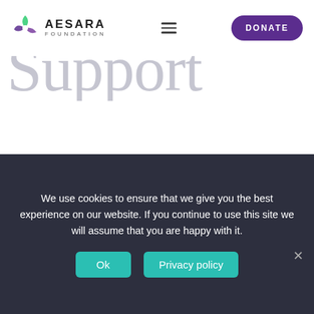[Figure (logo): Aesara Foundation logo with green and purple pinwheel icon and text 'AESARA FOUNDATION']
Support
[Figure (illustration): Circle with downward arrow icon]
We launched the Foundation almost 5 years ago. We started with a few donations, collaborations and now we have completed 20+ projects . We couldn't have done it without the support from our friends, volunteers, and partners. We want to help more and make
We use cookies to ensure that we give you the best experience on our website. If you continue to use this site we will assume that you are happy with it.
Ok
Privacy policy